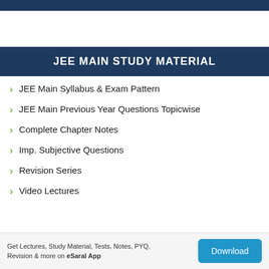JEE MAIN STUDY MATERIAL
JEE Main Syllabus & Exam Pattern
JEE Main Previous Year Questions Topicwise
Complete Chapter Notes
Imp. Subjective Questions
Revision Series
Video Lectures
Get Lectures, Study Material, Tests, Notes, PYQ, Revision & more on eSaral App  Download